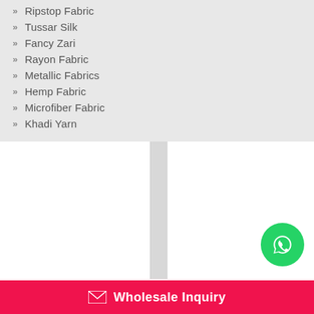Ripstop Fabric
Tussar Silk
Fancy Zari
Rayon Fabric
Metallic Fabrics
Hemp Fabric
Microfiber Fabric
Khadi Yarn
[Figure (logo): WhatsApp contact button - green circular icon with phone/message symbol]
Wholesale Inquiry